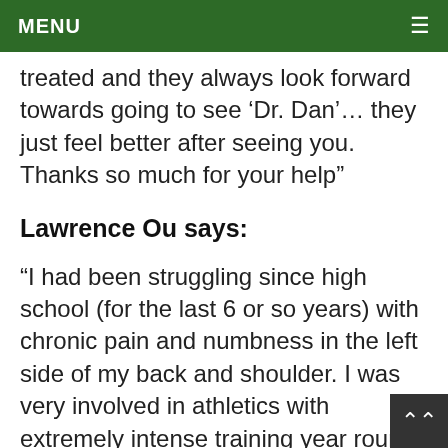MENU
treated and they always look forward towards going to see ‘Dr. Dan’… they just feel better after seeing you. Thanks so much for your help”
Lawrence Ou says:
“I had been struggling since high school (for the last 6 or so years) with chronic pain and numbness in the left side of my back and shoulder. I was very involved in athletics with extremely intense training year round. I tried a variety of different remedies, from